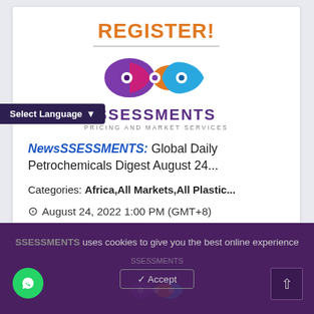REGISTER!
[Figure (logo): SSESSMENTS Pricing and Market Services logo with infinity-loop eye design in purple, pink, blue and orange]
Select Language
NewsSSESSMENTS: Global Daily Petrochemicals Digest August 24...
Categories: Africa,All Markets,All Plastic...
August 24, 2022 1:00 PM (GMT+8)
SSESSMENTS uses cookies to give you the best online experience
✓ Accept